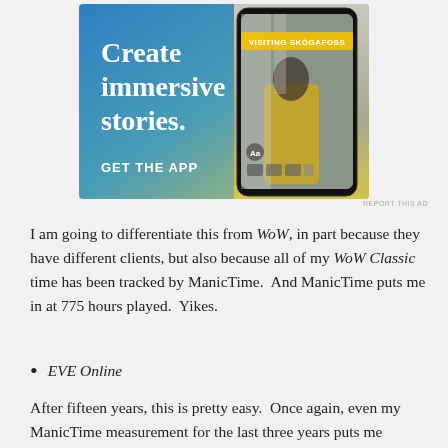[Figure (illustration): Advertisement banner for a mobile app. Blue-to-yellow gradient background on the left with white serif text 'Create immersive stories.' and bold sans-serif text 'GET THE APP'. On the right, a smartphone mockup showing a travel story interface with 'VISITING SKÓGAFOSS' label and a photo of a person in a yellow jacket near a waterfall.]
REPORT THIS AD
I am going to differentiate this from WoW, in part because they have different clients, but also because all of my WoW Classic time has been tracked by ManicTime.  And ManicTime puts me in at 775 hours played.  Yikes.
EVE Online
After fifteen years, this is pretty easy.  Once again, even my ManicTime measurement for the last three years puts me